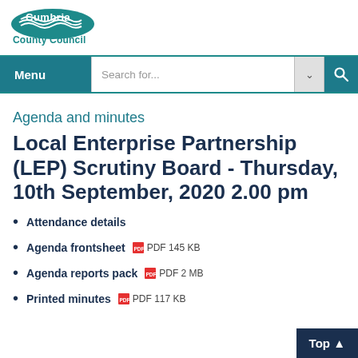[Figure (logo): Cumbria County Council logo with teal wave design and text]
Menu | Search for... [dropdown] [search button]
Agenda and minutes
Local Enterprise Partnership (LEP) Scrutiny Board - Thursday, 10th September, 2020 2.00 pm
Attendance details
Agenda frontsheet  PDF 145 KB
Agenda reports pack  PDF 2 MB
Printed minutes  PDF 117 KB